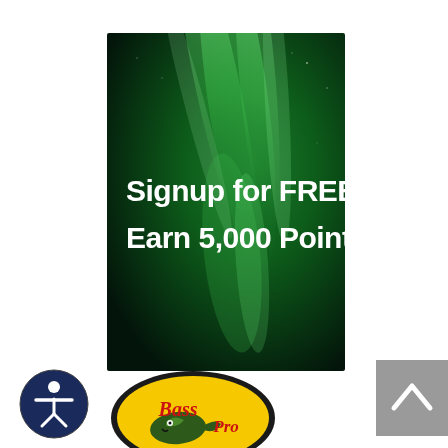[Figure (illustration): Promotional banner with green aurora borealis background and white bold text reading 'Signup for FREE! Earn 5,000 Points']
[Figure (logo): Bass Pro Shops logo — oval yellow badge with a bass fish and red/white text]
[Figure (other): Accessibility icon button — circular dark blue button with a person/wheelchair symbol]
[Figure (other): Scroll-to-top button — grey square with an upward chevron/arrow]